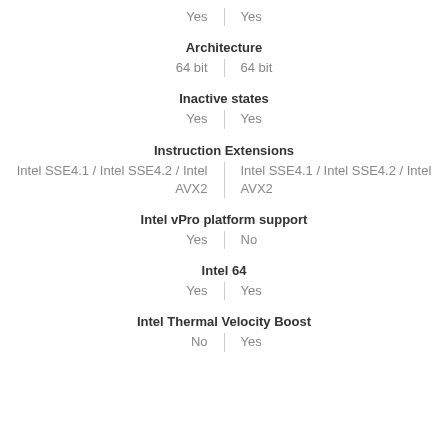| Yes | Yes |
| Architecture |  |
| 64 bit | 64 bit |
| Inactive states |  |
| Yes | Yes |
| Instruction Extensions |  |
| Intel SSE4.1 / Intel SSE4.2 / Intel AVX2 | Intel SSE4.1 / Intel SSE4.2 / Intel AVX2 |
| Intel vPro platform support |  |
| Yes | No |
| Intel 64 |  |
| Yes | Yes |
| Intel Thermal Velocity Boost |  |
| No | Yes |